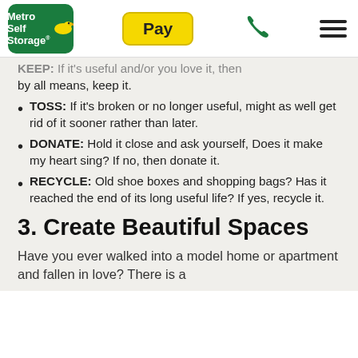[Figure (logo): Metro Self Storage logo with green background and yellow duck icon]
KEEP: If it's useful and/or you love it, then by all means, keep it.
TOSS: If it's broken or no longer useful, might as well get rid of it sooner rather than later.
DONATE: Hold it close and ask yourself, Does it make my heart sing? If no, then donate it.
RECYCLE: Old shoe boxes and shopping bags? Has it reached the end of its long useful life? If yes, recycle it.
3. Create Beautiful Spaces
Have you ever walked into a model home or apartment and fallen in love? There is a